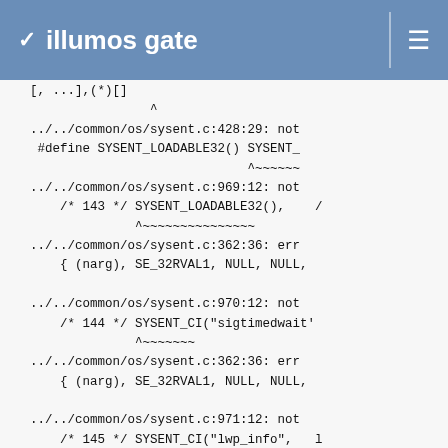illumos gate
[…]
                    ^
../../common/os/sysent.c:428:29: not
    #define SYSENT_LOADABLE32() SYSENT_
                                ^~~~~~~
../../common/os/sysent.c:969:12: not
    /* 143 */ SYSENT_LOADABLE32(),    /
              ^~~~~~~~~~~~~~~~
../../common/os/sysent.c:362:36: err
    { (narg), SE_32RVAL1, NULL, NULL,

../../common/os/sysent.c:970:12: not
    /* 144 */ SYSENT_CI("sigtimedwait'
              ^~~~~~~~
../../common/os/sysent.c:362:36: err
    { (narg), SE_32RVAL1, NULL, NULL,

../../common/os/sysent.c:971:12: not
    /* 145 */ SYSENT_CI("lwp_info",   l